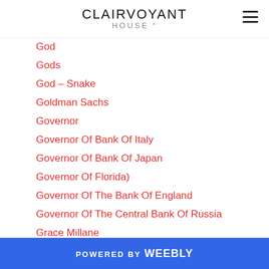CLAIRVOYANT
Giza Pyramids
God
Gods
God – Snake
Goldman Sachs
Governor
Governor Of Bank Of Italy
Governor Of Bank Of Japan
Governor Of Florida)
Governor Of The Bank Of England
Governor Of The Central Bank Of Russia
Grace Millane
Great Britain
Great Sphinx Of Giza
Greece
POWERED BY weebly